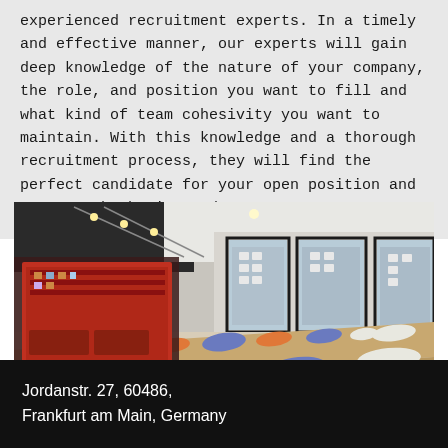experienced recruitment experts. In a timely and effective manner, our experts will gain deep knowledge of the nature of your company, the role, and position you want to fill and what kind of team cohesivity you want to maintain. With this knowledge and a thorough recruitment process, they will find the perfect candidate for your open position and save you both time and money.
[Figure (photo): Interior photo of a modern office space with colorful seating cushions on a wooden bench, large windows with city building views, exposed ceiling with track lighting, and a red-framed lounge area.]
Jordanstr. 27, 60486, Frankfurt am Main, Germany